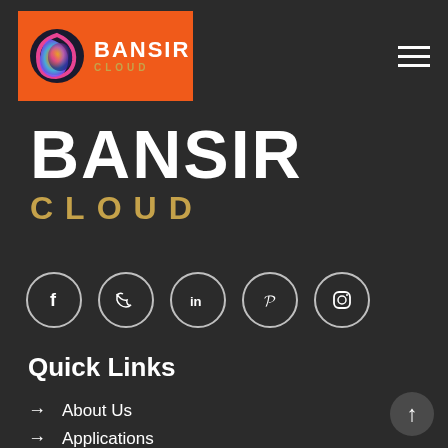[Figure (logo): Bansir Cloud logo in orange rectangle with multicolor swirl icon, white BANSIR text, gold CLOUD text]
BANSIR CLOUD
[Figure (infographic): Five social media icons in circles: Facebook, Twitter, LinkedIn, Pinterest, Instagram]
Quick Links
→ About Us
→ Applications